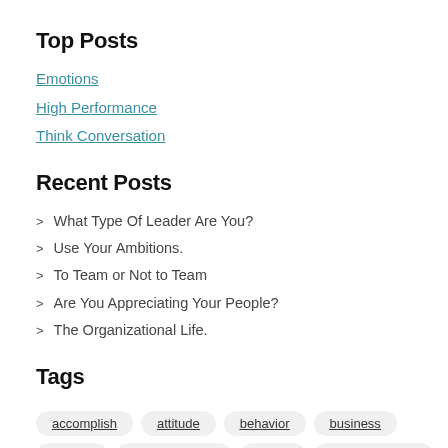Top Posts
Emotions
High Performance
Think Conversation
Recent Posts
What Type Of Leader Are You?
Use Your Ambitions.
To Team or Not to Team
Are You Appreciating Your People?
The Organizational Life.
Tags
accomplish
attitude
behavior
business
candor
charles darwin
clarity
communication
complexity
corporations
courage
creativity